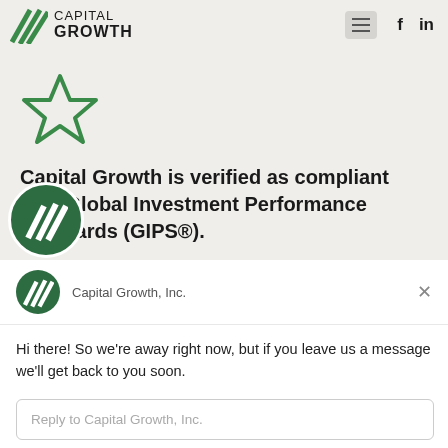CAPITAL GROWTH
[Figure (logo): Capital Growth logo with diagonal stripe pattern and star icon]
Capital Growth is verified as compliant with Global Investment Performance Standards (GIPS®).
[Figure (screenshot): Chat widget popup showing Capital Growth, Inc. with message: Hi there! So we're away right now, but if you leave us a message we'll get back to you soon. Reply input box shown.]